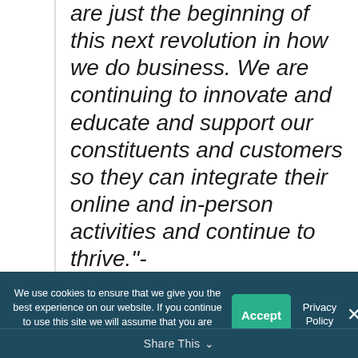are just the beginning of this next revolution in how we do business. We are continuing to innovate and educate and support our constituents and customers so they can integrate their online and in-person activities and continue to thrive."- Elizabeth Hulings
We use cookies to ensure that we give you the best experience on our website. If you continue to use this site we will assume that you are happy with it. Accept Privacy Policy ✕ Share This